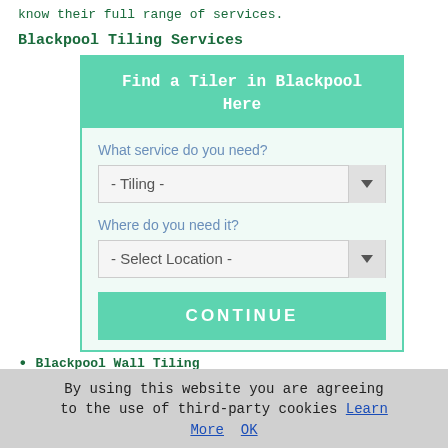know their full range of services.
Blackpool Tiling Services
[Figure (screenshot): A web widget titled 'Find a Tiler in Blackpool Here' with two dropdown selectors: 'What service do you need?' defaulting to '- Tiling -', and 'Where do you need it?' defaulting to '- Select Location -', plus a green CONTINUE button.]
Blackpool Wall Tiling
Blackpool Mosaic Tiling
Blackpool Tiling Contractors
By using this website you are agreeing to the use of third-party cookies Learn More  OK